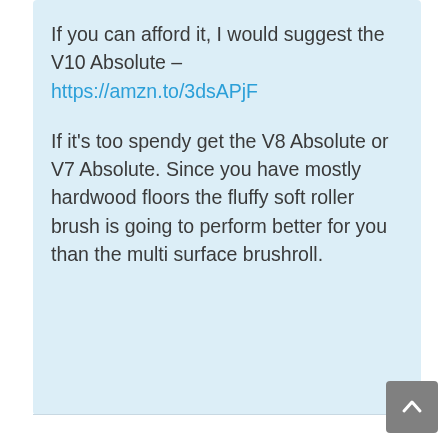If you can afford it, I would suggest the V10 Absolute – https://amzn.to/3dsAPjF
If it's too spendy get the V8 Absolute or V7 Absolute. Since you have mostly hardwood floors the fluffy soft roller brush is going to perform better for you than the multi surface brushroll.